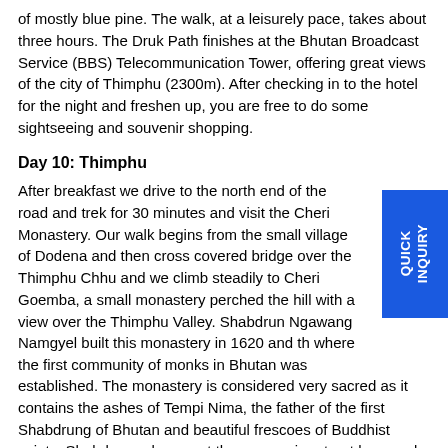of mostly blue pine. The walk, at a leisurely pace, takes about three hours. The Druk Path finishes at the Bhutan Broadcast Service (BBS) Telecommunication Tower, offering great views of the city of Thimphu (2300m). After checking in to the hotel for the night and freshen up, you are free to do some sightseeing and souvenir shopping.
Day 10: Thimphu
After breakfast we drive to the north end of the road and trek for 30 minutes and visit the Cheri Monastery. Our walk begins from the small village of Dodena and then cross covered bridge over the Thimphu Chhu and we climb steadily to Cheri Goemba, a small monastery perched the hill with a view over the Thimphu Valley. Shabdrung Ngawang Namgyel built this monastery in 1620 and th where the first community of monks in Bhutan was established. The monastery is considered very sacred as it contains the ashes of Tempi Nima, the father of the first Shabdrung of Bhutan and beautiful frescoes of Buddhist saints. Shabdrung also spent three years in retreat here and it's a renowned meditation place even today. There are then visits to the Changangkha Lhakhang, National animal (Mini Zoo), Tashichho Dzong, National Memorial Chorten, Folk